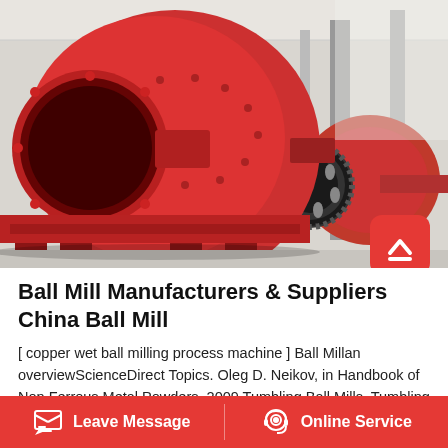[Figure (photo): Large red industrial ball mills in a factory setting. In the foreground, a close-up of a large red cylindrical ball mill with an open circular inlet flange, mounted on a red steel frame. In the background, another red ball mill with a ring gear visible. The facility has a pale concrete floor and steel structure.]
Ball Mill Manufacturers & Suppliers China Ball Mill
[ copper wet ball milling process machine ] Ball Millan overviewScienceDirect Topics. Oleg D. Neikov, in Handbook of Non Ferrous Metal Powders, 2009 Tumbling Ball Mills. Tumbling ball mills or ball mills are most widely used in both wet and dry systems, in batch and
Leave Message   Online Service